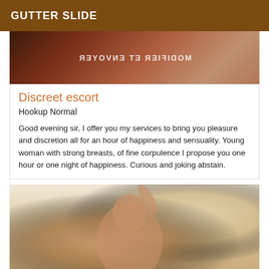GUTTER SLIDE
[Figure (photo): Top cropped photo with mirrored French text overlay reading MODIFIER ET ENVOYER]
Discreet escort
Hookup Normal
Good evening sir, I offer you my services to bring you pleasure and discretion all for an hour of happiness and sensuality. Young woman with strong breasts, of fine corpulence I propose you one hour or one night of happiness. Curious and joking abstain.
[Figure (photo): Photo of a young woman with brown hair posing, holding a high heel shoe above her head]